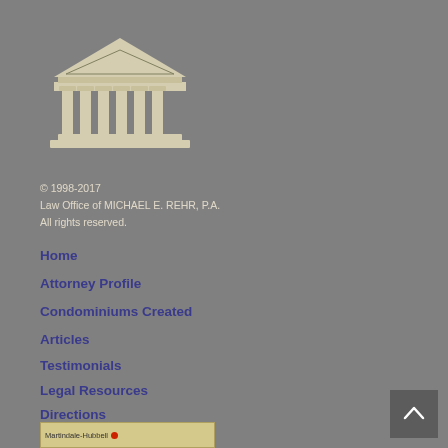[Figure (logo): Rehrlaw courthouse/temple logo with columns and triangular pediment in beige/cream on gray background, followed by bold text 'Rehrlaw']
© 1998-2017
Law Office of MICHAEL E. REHR, P.A.
All rights reserved.
Home
Attorney Profile
Condominiums Created
Articles
Testimonials
Legal Resources
Directions
Contact Us
[Figure (screenshot): Partial thumbnail image at bottom left, appears to show a webpage snippet with text 'Martindale-Hubbell' and a red badge icon]